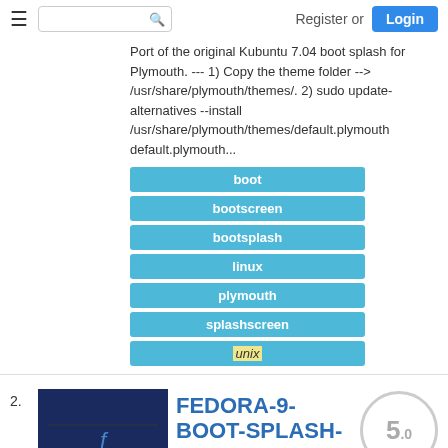Register or Login
Port of the original Kubuntu 7.04 boot splash for Plymouth. --- 1) Copy the theme folder --> /usr/share/plymouth/themes/. 2) sudo update-alternatives --install /usr/share/plymouth/themes/default.plymouth default.plymouth...
boot
bootscreen
bootsplash
linux
plymouth
splashscreen
unix
FEDORA-9-BOOT-SPLASH-PORT
Plymouth Themes   by Duke93